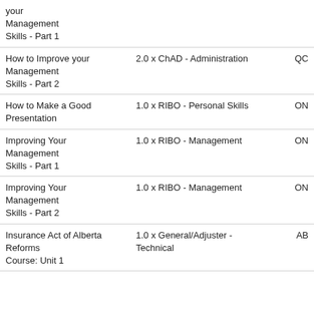| Course Name | Credits | Province |
| --- | --- | --- |
| your Management Skills - Part 1 |  |  |
| How to Improve your Management Skills - Part 2 | 2.0 x ChAD - Administration | QC |
| How to Make a Good Presentation | 1.0 x RIBO - Personal Skills | ON |
| Improving Your Management Skills - Part 1 | 1.0 x RIBO - Management | ON |
| Improving Your Management Skills - Part 2 | 1.0 x RIBO - Management | ON |
| Insurance Act of Alberta Reforms Course: Unit 1 | 1.0 x General/Adjuster - Technical | AB |